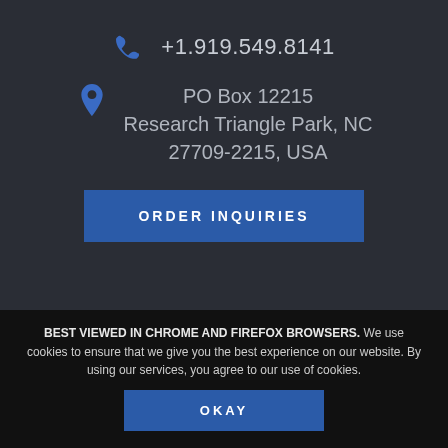+1.919.549.8141
PO Box 12215
Research Triangle Park, NC
27709-2215, USA
ORDER INQUIRIES
BEST VIEWED IN CHROME AND FIREFOX BROWSERS. We use cookies to ensure that we give you the best experience on our website. By using our services, you agree to our use of cookies.
OKAY